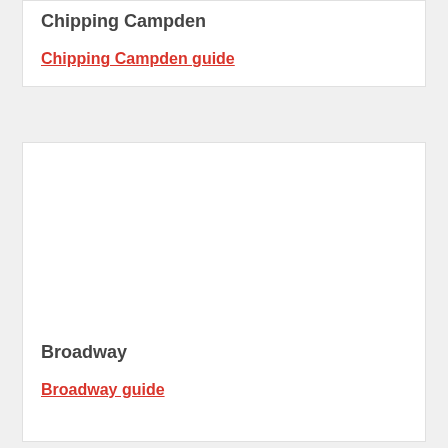Chipping Campden
Chipping Campden guide
[Figure (photo): Photo placeholder for Broadway]
Broadway
Broadway guide